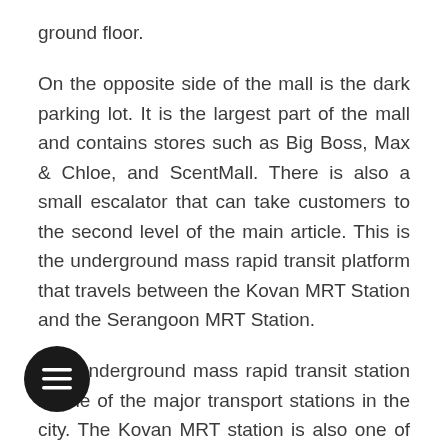ground floor.
On the opposite side of the mall is the dark parking lot. It is the largest part of the mall and contains stores such as Big Boss, Max & Chloe, and ScentMall. There is also a small escalator that can take customers to the second level of the main article. This is the underground mass rapid transit platform that travels between the Kovan MRT Station and the Serangoon MRT Station.
The underground mass rapid transit station is one of the major transport stations in the city. The Kovan MRT station is also one of the oldest. It was built in 1960 and is located in close proximity to the Hougang Mall. This gives a good comparison of the two and how much the Mall has changed since it was built and the way people used to use it when it was new.
Many people who used to come to the mall during its